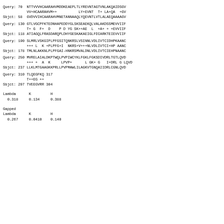Query: 70  NTTVVVHCAARAHVMDDKEAEPLTLYREVNTAGTVNLAKQAIDSGV
           VV+HCAARAHVM++          LY+EVNT  T+ LA+QA  +GV
Sbjct: 58  GVDVVIHCAARAHVMNETANNAAQLYQEVNTLVTLALAEQAAAAGV
Query: 130 GTLVGCPFKTEDNHAPEDDYGLSKSEAEKQLVALAKDSSMEVVII
           T+ G  F+  D    P D YG SK++AE  L  +A+ + +EVVII
Sbjct: 118 ATIAGQLFRASDARQPLDHYGESKAKAEIGLFDIARKTEIEVVII
Query: 190 SLMRLVSKGIPLPFGSITQNKRSLVSINNLVDLIVTCIDHPKAANC
           +++ L  K +PLPFG+I  NKRS+V+++NLVDLIVTCI+HP AANC
Sbjct: 178 TMLNLAKKNLPLPFGAI-HNKRSMVALDNLVDLIVTCIEHPNAANC
Query: 250 MVRELAIALDKPTWQLPVPIWCYKLFGKLFGKSDIVDRLTGTLQVD
           +++ +  A  K     LPVP+      L GK+ G   I+DRL G LQVD
Sbjct: 237 LLKLMTGAAGKKPRLLPVPMAWLILAGKVTGNQAIIDRLCGNLQVD
Query: 310 TLQEGFKQ 317
           T++EG ++
Sbjct: 297 TVEEGVRR 304
Lambda      K         H
  0.318     0.134     0.388
Gapped
Lambda      K         H
  0.267     0.0410    0.140